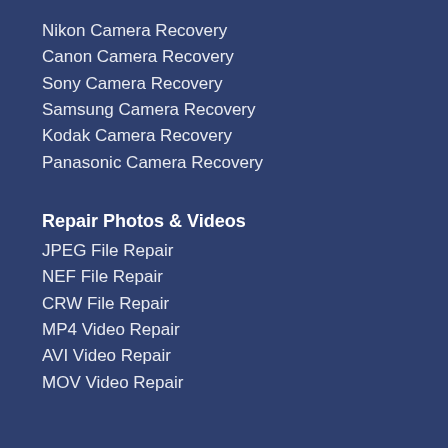Nikon Camera Recovery
Canon Camera Recovery
Sony Camera Recovery
Samsung Camera Recovery
Kodak Camera Recovery
Panasonic Camera Recovery
Repair Photos & Videos
JPEG File Repair
NEF File Repair
CRW File Repair
MP4 Video Repair
AVI Video Repair
MOV Video Repair